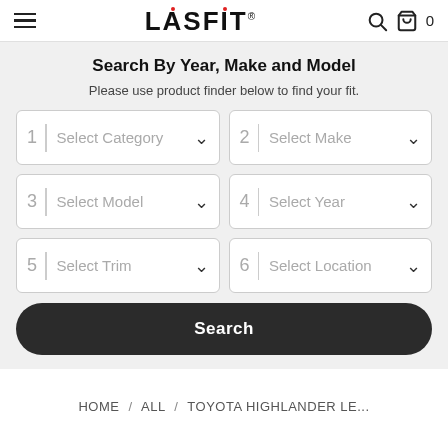LASFIT
Search By Year, Make and Model
Please use product finder below to find your fit.
1 Select Category | 2 Select Make | 3 Select Model | 4 Select Year | 5 Select Trim | 6 Select Location
Search
HOME / ALL / TOYOTA HIGHLANDER LE...